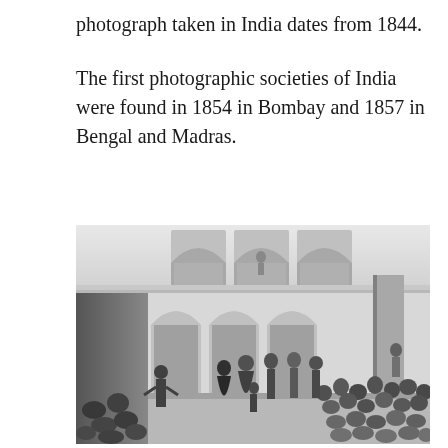photograph taken in India dates from 1844.
The first photographic societies of India were found in 1854 in Bombay and 1857 in Bengal and Madras.
[Figure (photo): Historical black-and-white photograph showing a group of people gathered in a courtyard with ornate arched architecture typical of Indian Mughal or Rajput style. In the foreground, several figures appear to be dancing or performing while a large crowd of seated onlookers watches from the right side. The building in the background features decorative arches and carved stonework.]